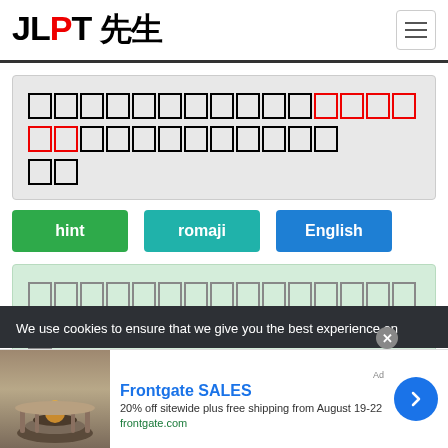JLPT 先生
[Japanese sentence with blank characters highlighted in red]
hint | romaji | English
[Japanese sentence with blank characters in green box]
We use cookies to ensure that we give you the best experience on
Frontgate SALES - 20% off sitewide plus free shipping from August 19-22 - frontgate.com